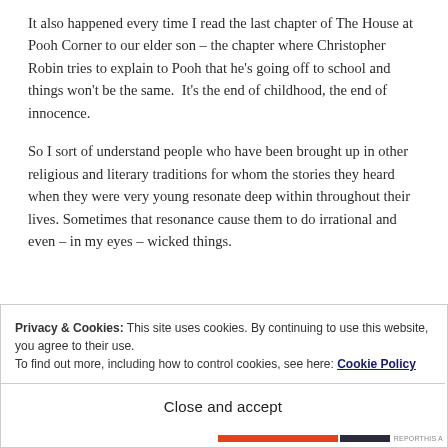It also happened every time I read the last chapter of The House at Pooh Corner to our elder son – the chapter where Christopher Robin tries to explain to Pooh that he's going off to school and things won't be the same.  It's the end of childhood, the end of innocence.
So I sort of understand people who have been brought up in other religious and literary traditions for whom the stories they heard when they were very young resonate deep within throughout their lives. Sometimes that resonance cause them to do irrational and even – in my eyes – wicked things.
Privacy & Cookies: This site uses cookies. By continuing to use this website, you agree to their use.
To find out more, including how to control cookies, see here: Cookie Policy
Close and accept